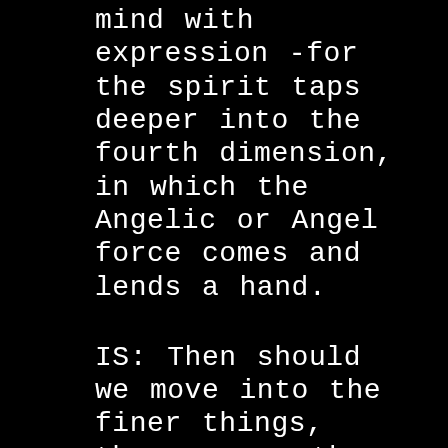mind with expression -for the spirit taps deeper into the fourth dimension, in which the Angelic or Angel force comes and lends a hand.
IS: Then should we move into the finer things, then or are the heavy things all right? In that case it seems that it's a